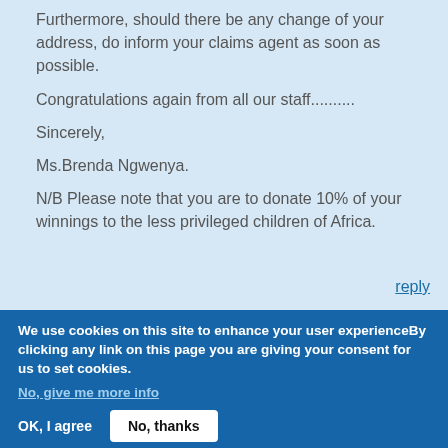Furthermore, should there be any change of your address, do inform your claims agent as soon as possible.
Congratulations again from all our staff..........
Sincerely,
Ms.Brenda Ngwenya.
N/B Please note that you are to donate 10% of your winnings to the less privileged children of Africa.
reply
We use cookies on this site to enhance your user experienceBy clicking any link on this page you are giving your consent for us to set cookies.
No, give me more info
OK, I agree
No, thanks